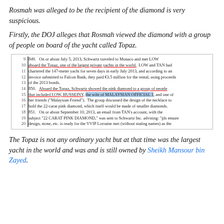Rosmah was alleged to be the recipient of the diamond is very suspicious.
Firstly, the DOJ alleges that Rosmah viewed the diamond with a group of people on board of the yacht called Topaz.
[Figure (screenshot): Scanned legal document excerpt, lines 9-20, describing Schwartz meeting LOW aboard the Topaz yacht, showing the pink diamond to a group including the wife of MALAYSIAN OFFICIAL 1, and an email about a 22 CARAT PINK DIAMOND.]
The Topaz is not any ordinary yacht but at that time was the largest yacht in the world and was and is still owned by Sheikh Mansour bin Zayed.